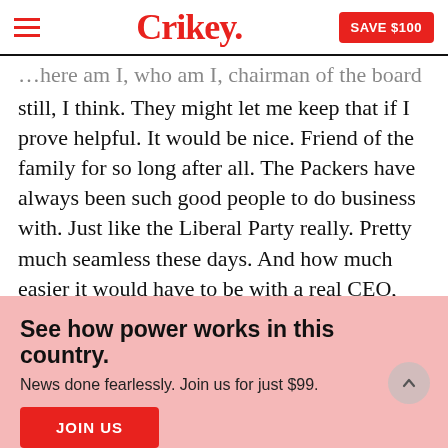Crikey. SAVE $100
still, I think. They might let me keep that if I prove helpful. It would be nice. Friend of the family for so long after all. The Packers have always been such good people to do business with. Just like the Liberal Party really. Pretty much seamless these days. And how much easier it would have to be with a real CEO, someone with Fairfax in their blood. Little JA. Hmmm, better not think of him like that anymore.
See how power works in this country.
News done fearlessly. Join us for just $99.
JOIN US